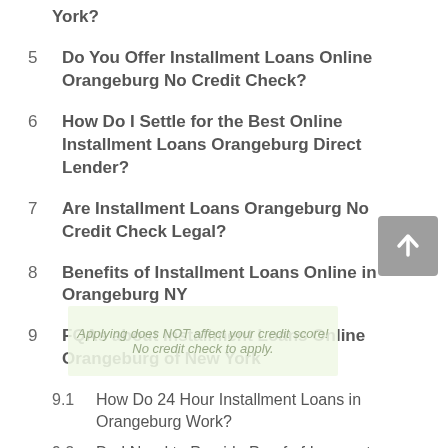York?
5  Do You Offer Installment Loans Online Orangeburg No Credit Check?
6  How Do I Settle for the Best Online Installment Loans Orangeburg Direct Lender?
7  Are Installment Loans Orangeburg No Credit Check Legal?
8  Benefits of Installment Loans Online in Orangeburg NY
9  FQAs about Installment Loans Online Orangeburg of New York
9.1  How Do 24 Hour Installment Loans in Orangeburg Work?
9.2  Do I Need to Provide Proof of Income to